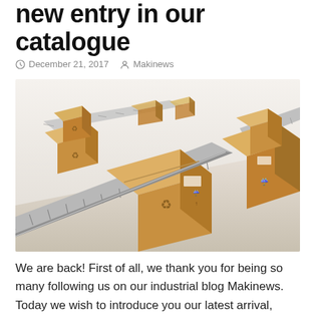new entry in our catalogue
December 21, 2017   Makinews
[Figure (photo): Cardboard boxes on a conveyor belt in a warehouse/logistics setting, 3D render style image showing multiple brown shipping boxes moving along roller conveyors]
We are back! First of all, we thank you for being so many following us on our industrial blog Makinews. Today we wish to introduce you our latest arrival, our new category: Packaging. Come and discover with us what it is about.